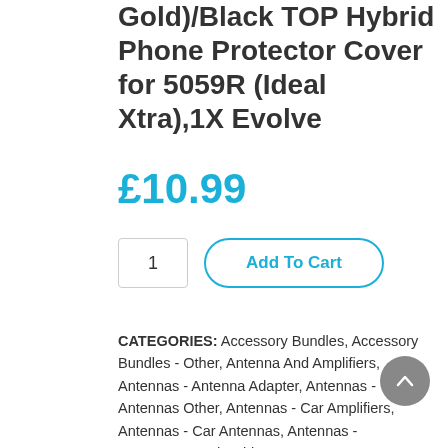Gold)/Black TOP Hybrid Phone Protector Cover for 5059R (Ideal Xtra),1X Evolve
£10.99
1   Add To Cart
CATEGORIES: Accessory Bundles, Accessory Bundles - Other, Antenna And Amplifiers, Antennas - Antenna Adapter, Antennas - Antennas Other, Antennas - Car Amplifiers, Antennas - Car Antennas, Antennas - Connectors and Cables, Antennas - Home Amplifiers, Antennas - Oversize, Batteries, Battery and Door Combos, Battery Doors, Battery Pack, Bluetooth, Bluetooth - Dongles, Bluetooth - Headsets, Bluetooth - Keyboards, Bluetooth - Other,